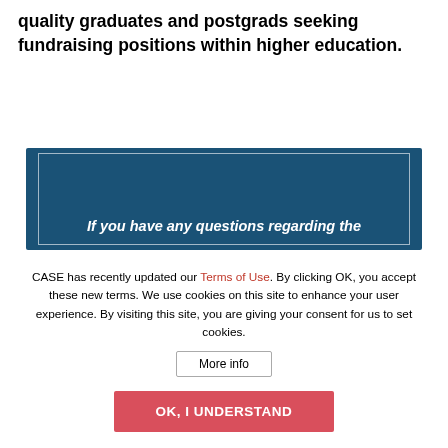quality graduates and postgrads seeking fundraising positions within higher education.
[Figure (other): Dark blue banner/box with inner white border containing partial italic text: 'If you have any questions regarding the']
CASE has recently updated our Terms of Use. By clicking OK, you accept these new terms. We use cookies on this site to enhance your user experience. By visiting this site, you are giving your consent for us to set cookies.
More info
OK, I UNDERSTAND